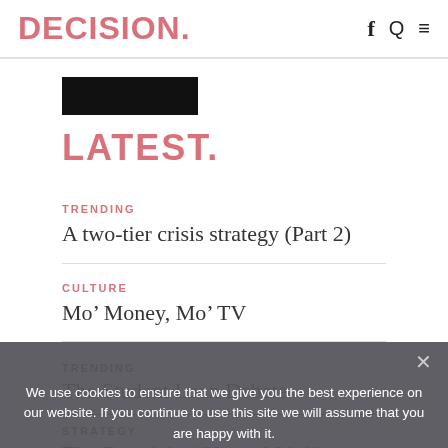DECISION. [icons: f Q ≡]
[Figure (other): Black rectangle placeholder image]
LATEST.
TRENDING
A two-tier crisis strategy (Part 2)
CULTURE
Mo' Money, Mo' TV
TRENDING
The Student Loan Debate
STRATEGY
The Era of the "Natural Idol"
We use cookies to ensure that we give you the best experience on our website. If you continue to use this site we will assume that you are happy with it.